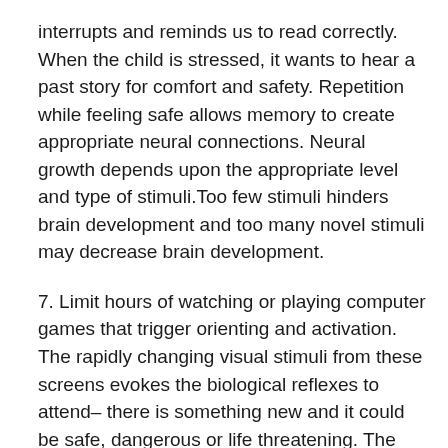interrupts and reminds us to read correctly. When the child is stressed, it wants to hear a past story for comfort and safety. Repetition while feeling safe allows memory to create appropriate neural connections. Neural growth depends upon the appropriate level and type of stimuli.Too few stimuli hinders brain development and too many novel stimuli may decrease brain development.
7. Limit hours of watching or playing computer games that trigger orienting and activation. The rapidly changing visual stimuli from these screens evokes the biological reflexes to attend– there is something new and it could be safe, dangerous or life threatening. The physiological processes and the important implications for health and illness have been elucidated by the polyvagal theory developed by Professor Stephen Porges.